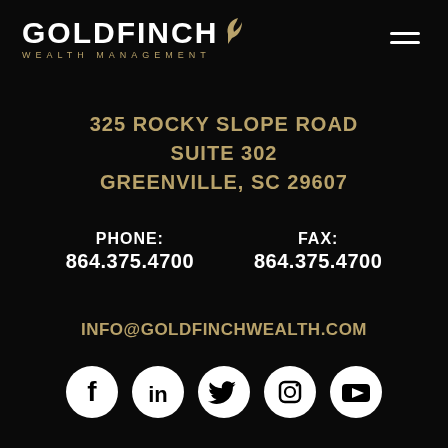[Figure (logo): Goldfinch Wealth Management logo with bird icon, white text GOLDFINCH with gold subtitle WEALTH MANAGEMENT]
325 ROCKY SLOPE ROAD
SUITE 302
GREENVILLE, SC 29607
PHONE:
864.375.4700
FAX:
864.375.4700
INFO@GOLDFINCHWEALTH.COM
[Figure (illustration): Social media icons row: Facebook, LinkedIn, Twitter, Instagram, YouTube — white circles on black background]